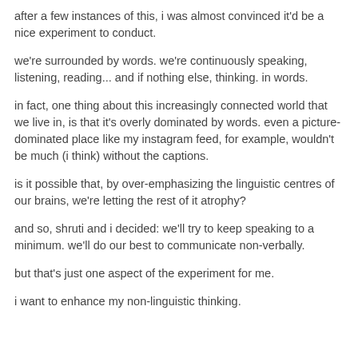after a few instances of this, i was almost convinced it'd be a nice experiment to conduct.
we're surrounded by words. we're continuously speaking, listening, reading... and if nothing else, thinking. in words.
in fact, one thing about this increasingly connected world that we live in, is that it's overly dominated by words. even a picture-dominated place like my instagram feed, for example, wouldn't be much (i think) without the captions.
is it possible that, by over-emphasizing the linguistic centres of our brains, we're letting the rest of it atrophy?
and so, shruti and i decided: we'll try to keep speaking to a minimum. we'll do our best to communicate non-verbally.
but that's just one aspect of the experiment for me.
i want to enhance my non-linguistic thinking.